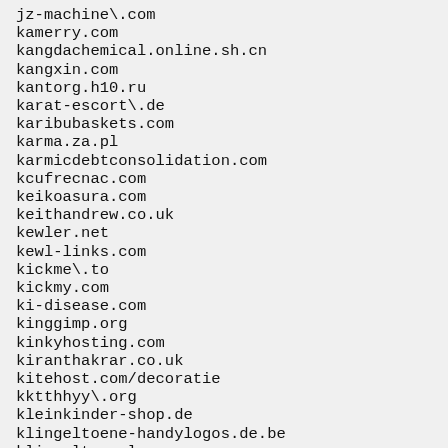jz-machine\.com
kamerry.com
kangdachemical.online.sh.cn
kangxin.com
kantorg.h10.ru
karat-escort\.de
karibubaskets.com
karma.za.pl
karmicdebtconsolidation.com
kcufrecnac.com
keikoasura.com
keithandrew.co.uk
kewler.net
kewl-links.com
kickme\.to
kickmy.com
ki-disease.com
kinggimp.org
kinkyhosting.com
kiranthakrar.co.uk
kitehost.com/decoratie
kktthhyy\.org
kleinkinder-shop.de
klingeltoene-handylogos.de.be
klingeltone-logo.com